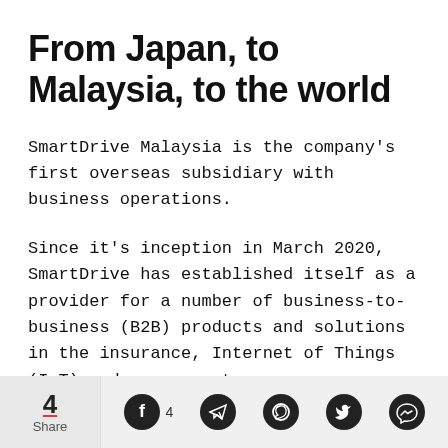From Japan, to Malaysia, to the world
SmartDrive Malaysia is the company’s first overseas subsidiary with business operations.
Since it’s inception in March 2020, SmartDrive has established itself as a provider for a number of business-to-business (B2B) products and solutions in the insurance, Internet of Things (IoT) and management space.
Share 4 | Social icons: Facebook (4), Telegram, WhatsApp, Twitter, Messenger